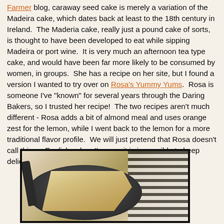Farmer blog, caraway seed cake is merely a variation of the Madeira cake, which dates back at least to the 18th century in Ireland.  The Maderia cake, really just a pound cake of sorts, is thought to have been developed to eat while sipping Madeira or port wine.  It is very much an afternoon tea type cake, and would have been far more likely to be consumed by women, in groups.  She has a recipe on her site, but I found a version I wanted to try over on Rosa's Yummy Yums.  Rosa is someone I've "known" for several years through the Daring Bakers, so I trusted her recipe!  The two recipes aren't much different - Rosa adds a bit of almond meal and uses orange zest for the lemon, while I went back to the lemon for a more traditional flavor profile.  We will just pretend that Rosa doesn't call this an English cake.  I'm sure it is impossible to keep delicious baked goods a secret for long anyway!
[Figure (photo): A slice of caraway seed cake on a dark plate, with black and white striped fabric in the background and a fork on the left side.]